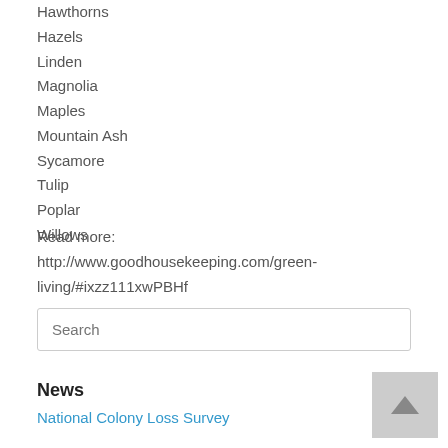Hawthorns
Hazels
Linden
Magnolia
Maples
Mountain Ash
Sycamore
Tulip
Poplar
Willows
Read more:
http://www.goodhousekeeping.com/green-living/#ixzz111xwPBHf
News
National Colony Loss Survey